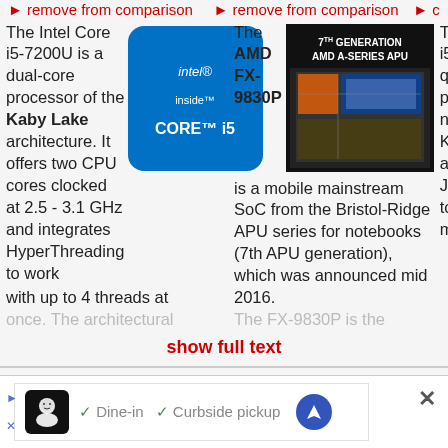▶ remove from comparison
▶ remove from comparison
▶ c
[Figure (logo): Intel Core i5 logo badge, blue with white text]
The Intel Core i5-7200U is a dual-core processor of the Kaby Lake architecture. It offers two CPU cores clocked at 2.5 - 3.1 GHz and integrates HyperThreading to work with up to 4 threads at once. The architectural
[Figure (photo): 7th Generation AMD A-Series APU chip photograph]
The AMD FX-9830P is a mobile mainstream SoC from the Bristol-Ridge APU series for notebooks (7th APU generation), which was announced mid 2016. The FX-9830P is the
Th i5 qu pr no Ka ar Ja to m
show full text
[Figure (infographic): Advertisement bar: Dine-in / Curbside pickup with navigation icon]